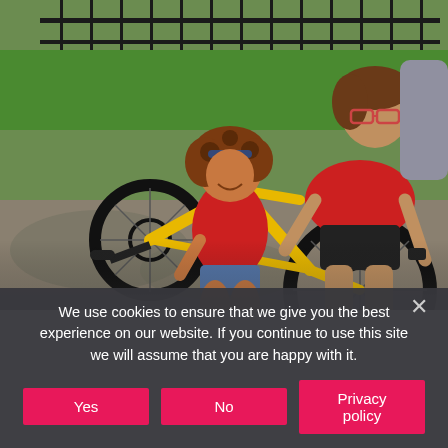[Figure (photo): Two women in red t-shirts repairing a yellow bicycle outdoors in a park. One woman kneels on the ground working on the bike frame while another stands bending over holding the rear wheel. The bike is flipped upside down. Green grass and trees visible in background.]
We use cookies to ensure that we give you the best experience on our website. If you continue to use this site we will assume that you are happy with it.